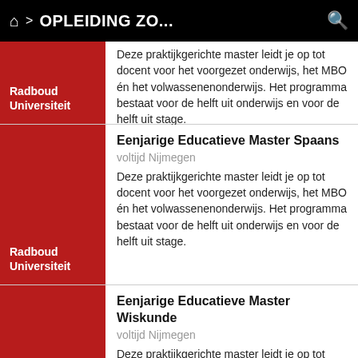🏠 > OPLEIDING ZO...
Deze praktijkgerichte master leidt je op tot docent voor het voorgezet onderwijs, het MBO én het volwassenenonderwijs. Het programma bestaat voor de helft uit onderwijs en voor de helft uit stage.
Eenjarige Educatieve Master Spaans
voltijd Nijmegen
Deze praktijkgerichte master leidt je op tot docent voor het voorgezet onderwijs, het MBO én het volwassenenonderwijs. Het programma bestaat voor de helft uit onderwijs en voor de helft uit stage.
Eenjarige Educatieve Master Wiskunde
voltijd Nijmegen
Deze praktijkgerichte master leidt je op tot docent voor het voorgezet onderwijs, het MBO én het volwassenenonderwijs. Het programma bestaat voor de helft uit onderwijs en voor de helft uit stage.